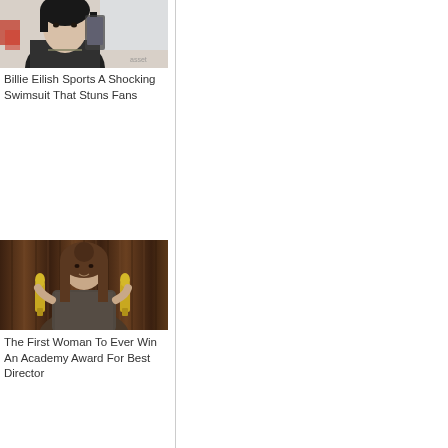[Figure (photo): Mirror selfie photo of Billie Eilish with dark short hair]
Billie Eilish Sports A Shocking Swimsuit That Stuns Fans
[Figure (photo): Woman holding two golden Oscar/Academy Award statuettes in front of a curtained backdrop]
The First Woman To Ever Win An Academy Award For Best Director